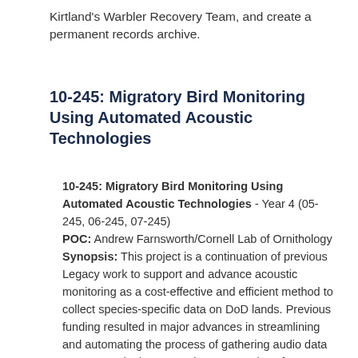Kirtland's Warbler Recovery Team, and create a permanent records archive.
10-245: Migratory Bird Monitoring Using Automated Acoustic Technologies
10-245: Migratory Bird Monitoring Using Automated Acoustic Technologies - Year 4 (05-245, 06-245, 07-245) POC: Andrew Farnsworth/Cornell Lab of Ornithology Synopsis: This project is a continuation of previous Legacy work to support and advance acoustic monitoring as a cost-effective and efficient method to collect species-specific data on DoD lands. Previous funding resulted in major advances in streamlining and automating the process of gathering audio data on nocturnal migrants and target species of concerns. In continuing this work, we will use acoustic technologies, including autonomous recording devices and sound analysis software, for improved monitoring of species of concern, while developing cost-effective and